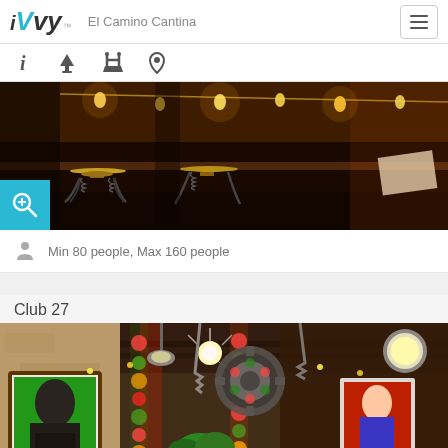iVvy | El Camino Cantina
[Figure (photo): Bar area with stools, warm lighting, and string lights in a dark wood interior]
Min 80 people, Max 160 people
Club 27
[Figure (photo): Interior of Club 27 with eclectic decor, framed pop-art posters, colorful floral decorations, industrial ceiling with chains and lights]